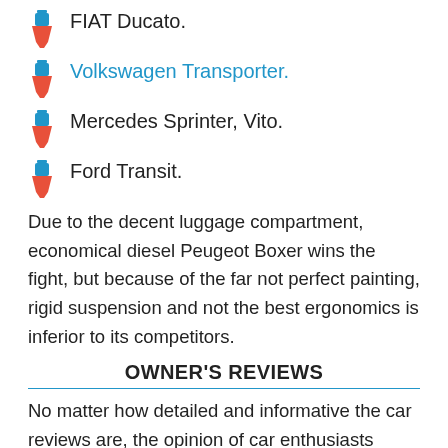FIAT Ducato.
Volkswagen Transporter.
Mercedes Sprinter, Vito.
Ford Transit.
Due to the decent luggage compartment, economical diesel Peugeot Boxer wins the fight, but because of the far not perfect painting, rigid suspension and not the best ergonomics is inferior to its competitors.
OWNER'S REVIEWS
No matter how detailed and informative the car reviews are, the opinion of car enthusiasts remains crucial. What do they say about the Peugeot Boxer, what reviews they write about it? Let's look into it.